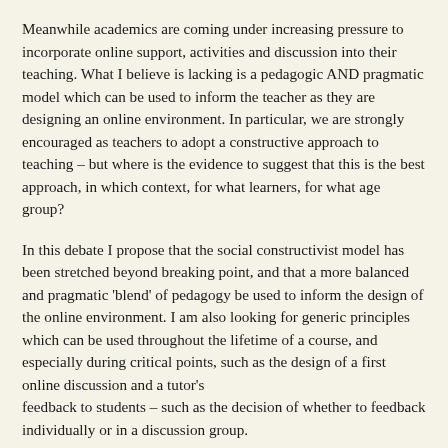Meanwhile academics are coming under increasing pressure to incorporate online support, activities and discussion into their teaching. What I believe is lacking is a pedagogic AND pragmatic model which can be used to inform the teacher as they are designing an online environment. In particular, we are strongly encouraged as teachers to adopt a constructive approach to teaching – but where is the evidence to suggest that this is the best approach, in which context, for what learners, for what age group?
In this debate I propose that the social constructivist model has been stretched beyond breaking point, and that a more balanced and pragmatic 'blend' of pedagogy be used to inform the design of the online environment. I am also looking for generic principles which can be used throughout the lifetime of a course, and especially during critical points, such as the design of a first online discussion and a tutor's feedback to students – such as the decision of whether to feedback individually or in a discussion group.
I believe that ICT has a central role to play in the university of the 21st century and that this role will grow for both students and academics. I think (and include evidence to support) that its impact